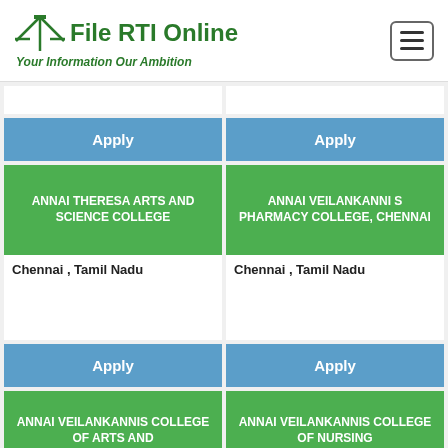File RTI Online - Your Information Our Ambition
Apply
Apply
ANNAI THERESA ARTS AND SCIENCE COLLEGE
Chennai , Tamil Nadu
ANNAI VEILANKANNI S PHARMACY COLLEGE, CHENNAI
Chennai , Tamil Nadu
Apply
Apply
ANNAI VEILANKANNIS COLLEGE OF ARTS AND
ANNAI VEILANKANNIS COLLEGE OF NURSING